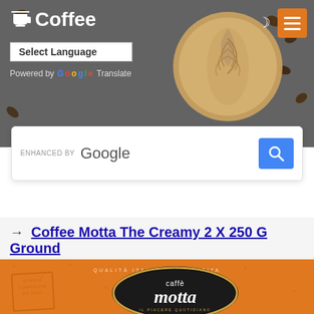☕ Coffee
Select Language
Powered by Google Translate
[Figure (screenshot): Search bar with 'ENHANCED BY Google' text and blue search button with magnifying glass icon]
→ Coffee Motta The Creamy 2 X 250 G Ground
[Figure (photo): Caffè Motta orange coffee package with 'Doppia Confezione Da 250G' stamp, 'Qualità Italiana Garantita' text, and the Motta logo on black oval. Il piacere quotidiano tagline visible at bottom.]